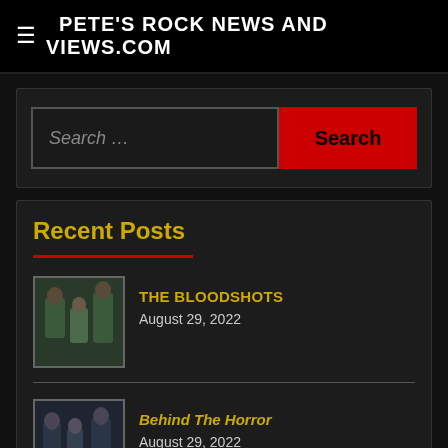PETE'S ROCK NEWS AND VIEWS.COM
[Figure (screenshot): Search widget with text input field labeled 'Search …' and a red 'Search' button]
Recent Posts
THE BLOODSHOTS — August 29, 2022
Behind The Horror — August 29, 2022